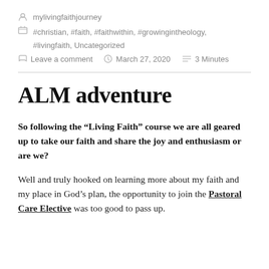mylivingfaithjourney
#christian, #faith, #faithwithin, #growingintheology, #livingfaith, Uncategorized
Leave a comment   March 27, 2020   3 Minutes
ALM adventure
So following the “Living Faith” course we are all geared up to take our faith and share the joy and enthusiasm or are we?
Well and truly hooked on learning more about my faith and my place in God’s plan, the opportunity to join the Pastoral Care Elective was too good to pass up.